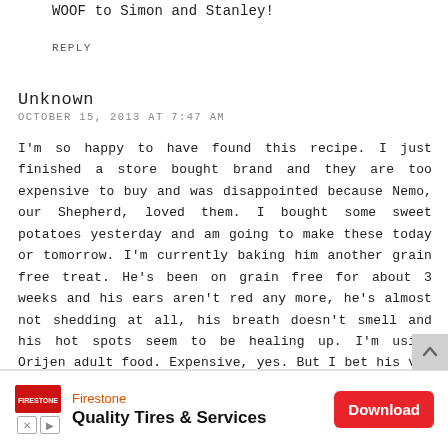WOOF to Simon and Stanley!
REPLY
Unknown
OCTOBER 15, 2013 AT 7:47 AM
I'm so happy to have found this recipe. I just finished a store bought brand and they are too expensive to buy and was disappointed because Nemo, our Shepherd, loved them. I bought some sweet potatoes yesterday and am going to make these today or tomorrow. I'm currently baking him another grain free treat. He's been on grain free for about 3 weeks and his ears aren't red any more, he's almost not shedding at all, his breath doesn't smell and his hot spots seem to be healing up. I'm using Orijen adult food. Expensive, yes. But I bet his vet bills go down & he doesn't need as much to eat. Thanks again for sharing.
REPLY
[Figure (screenshot): Firestone Quality Tires & Services advertisement banner with Download button]